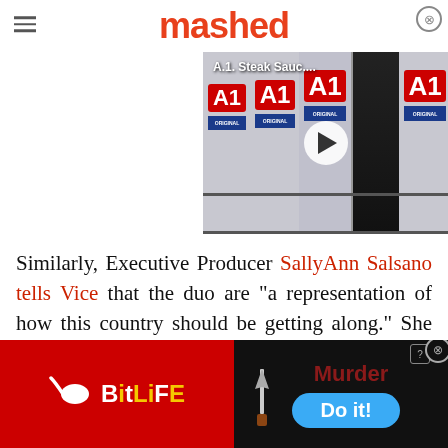mashed
[Figure (screenshot): Video thumbnail for A.1. Steak Sauce with play button overlay, showing multiple A1 Original steak sauce bottles on a shelf]
Similarly, Executive Producer SallyAnn Salsano tells Vice that the duo are "a representation of how this country should be getting along." She adds, "Let's
[Figure (screenshot): Advertisement banner: BitLife game ad on left (red background with sperm logo and BitLife branding) and Murder/Do it! game ad on right (dark background)]